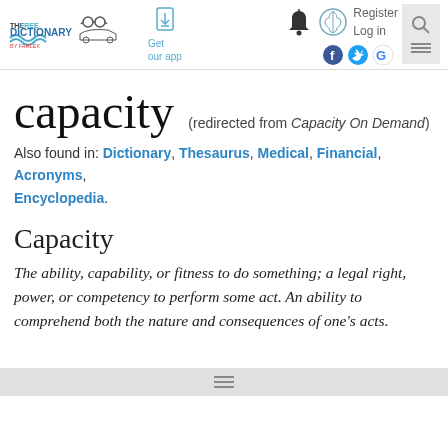The Free Dictionary by Farlex — Get our app — Register Log in
capacity (redirected from Capacity On Demand)
Also found in: Dictionary, Thesaurus, Medical, Financial, Acronyms, Encyclopedia.
Capacity
The ability, capability, or fitness to do something; a legal right, power, or competency to perform some act. An ability to comprehend both the nature and consequences of one's acts.